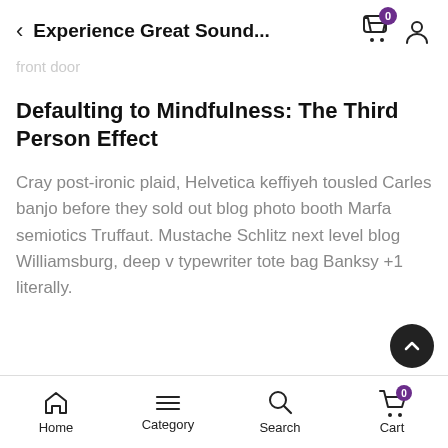Experience Great Sound...
front door
Defaulting to Mindfulness: The Third Person Effect
Cray post-ironic plaid, Helvetica keffiyeh tousled Carles banjo before they sold out blog photo booth Marfa semiotics Truffaut. Mustache Schlitz next level blog Williamsburg, deep v typewriter tote bag Banksy +1 literally.
Home  Category  Search  Cart